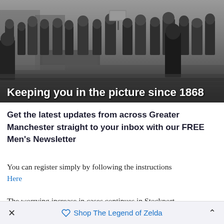[Figure (photo): Black and white historical photograph of a crowd of people on a street, with text overlay reading 'Keeping you in the picture since 1868']
Get the latest updates from across Greater Manchester straight to your inbox with our FREE Men's Newsletter
You can register simply by following the instructions Here
The worrying increase in cases continues in Stockport,
× Shop The Legend of Zelda ^